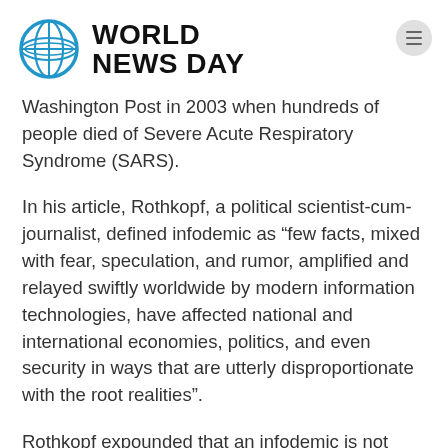WORLD NEWS DAY
Washington Post in 2003 when hundreds of people died of Severe Acute Respiratory Syndrome (SARS).
In his article, Rothkopf, a political scientist-cum-journalist, defined infodemic as “few facts, mixed with fear, speculation, and rumor, amplified and relayed swiftly worldwide by modern information technologies, have affected national and international economies, politics, and even security in ways that are utterly disproportionate with the root realities”.
Rothkopf expounded that an infodemic is not merely false news or misperception to information,